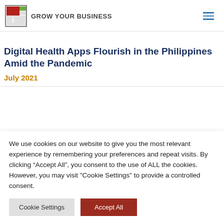GROW YOUR BUSINESS
Digital Health Apps Flourish in the Philippines Amid the Pandemic
July 2021
We use cookies on our website to give you the most relevant experience by remembering your preferences and repeat visits. By clicking “Accept All”, you consent to the use of ALL the cookies. However, you may visit "Cookie Settings" to provide a controlled consent.